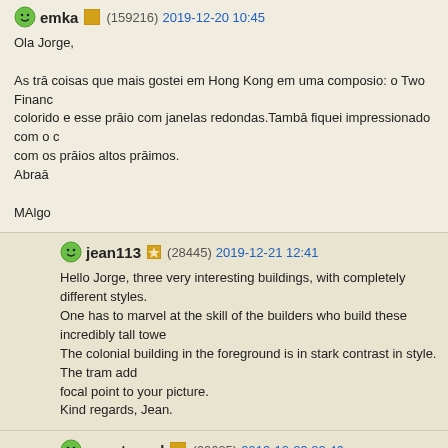emka (159216) 2019-12-20 10:45
Ola Jorge,

As trā coisas que mais gostei em Hong Kong em uma composio: o Two Financ colorido e esse prāio com janelas redondas.Tambā fiquei impressionado com o com os prāios altos prāimos.
Abraā

MAlgo
jean113 (28445) 2019-12-21 12:41
Hello Jorge, three very interesting buildings, with completely different styles. One has to marvel at the skill of the builders who build these incredibly tall towe The colonial building in the foreground is in stark contrast in style. The tram add focal point to your picture.
Kind regards, Jean.
mcmtanyel (69625) 2019-12-29 22:46
Hello Jorge,
Interesting contrast between the colonial building and the high rises. The tram a Regards,
MT